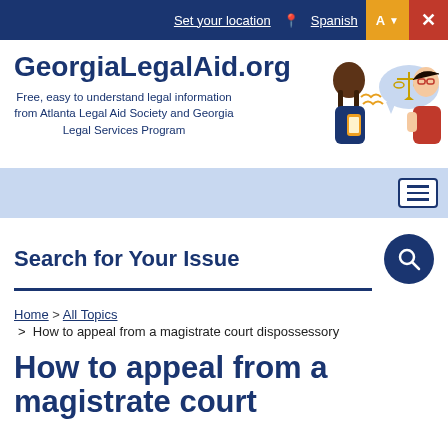Set your location  Spanish  [Translate] [Close]
GeorgiaLegalAid.org
Free, easy to understand legal information from Atlanta Legal Aid Society and Georgia Legal Services Program
[Figure (illustration): Illustration of two people, one looking at a phone and one holding scales of justice in a speech bubble]
Search for Your Issue
Home > All Topics > How to appeal from a magistrate court dispossessory
How to appeal from a magistrate court dispossessory